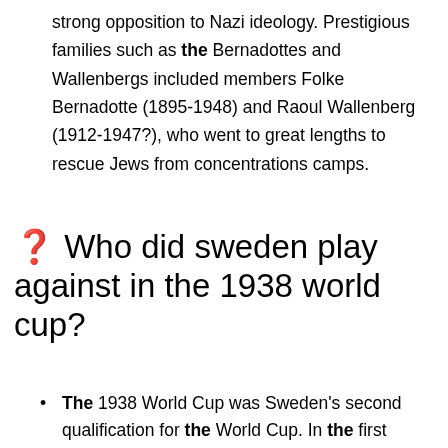strong opposition to Nazi ideology. Prestigious families such as the Bernadottes and Wallenbergs included members Folke Bernadotte (1895-1948) and Raoul Wallenberg (1912-1947?), who went to great lengths to rescue Jews from concentrations camps.
❓ Who did sweden play against in the 1938 world cup?
The 1938 World Cup was Sweden's second qualification for the World Cup. In the first